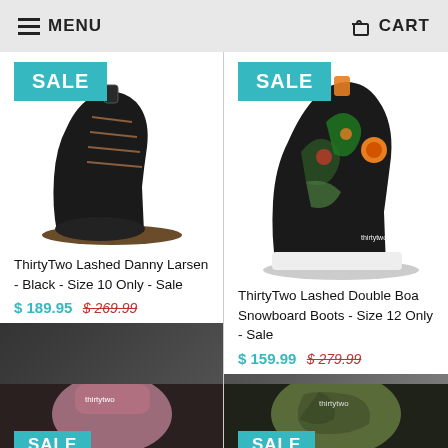MENU   CART
[Figure (photo): ThirtyTwo Lashed Danny Larsen black snowboard boot with sale badge]
ThirtyTwo Lashed Danny Larsen - Black - Size 10 Only - Sale
$ 189.95  $ 269.99
[Figure (photo): ThirtyTwo Lashed Double Boa snowboard boots with floral pattern and sale badge]
ThirtyTwo Lashed Double Boa Snowboard Boots - Size 12 Only - Sale
$ 159.99  $ 279.99
[Figure (photo): Partial view of pink/mauve snowboard boot with SALE badge at bottom]
[Figure (photo): Partial view of camo/olive snowboard boot with SALE badge at bottom]